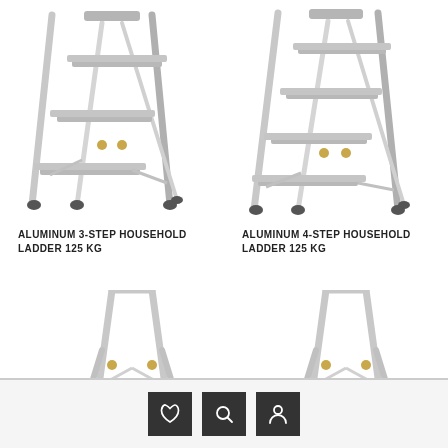[Figure (photo): Aluminum 3-step household ladder, silver/grey color, angled view]
[Figure (photo): Aluminum 4-step household ladder, silver/grey color, angled view]
ALUMINUM 3-STEP HOUSEHOLD LADDER 125 KG
ALUMINUM 4-STEP HOUSEHOLD LADDER 125 KG
[Figure (photo): Aluminum step stool/ladder with tall handle rail, partially visible]
[Figure (photo): Aluminum step stool/ladder with tall handle rail, partially visible]
Phone icon, Search icon, User/account icon navigation buttons